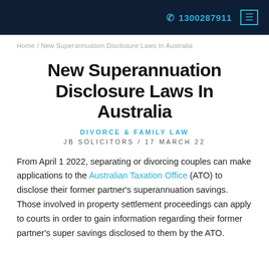1300287911
Home / New Superannuation Disclosure Laws In Australia
New Superannuation Disclosure Laws In Australia
DIVORCE & FAMILY LAW
JB SOLICITORS / 17 MARCH 22
From April 1 2022, separating or divorcing couples can make applications to the Australian Taxation Office (ATO) to disclose their former partner's superannuation savings. Those involved in property settlement proceedings can apply to courts in order to gain information regarding their former partner's super savings disclosed to them by the ATO.